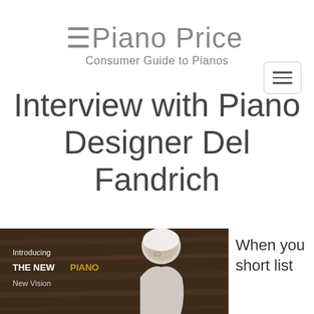Piano Price Point — Consumer Guide to Pianos
Interview with Piano Designer Del Fandrich
[Figure (photo): Article thumbnail image showing an older man with white hair looking down, with overlaid text 'Introducing THE NEW PIANO New Vision' on a dark brown wood-grain background]
When you short list